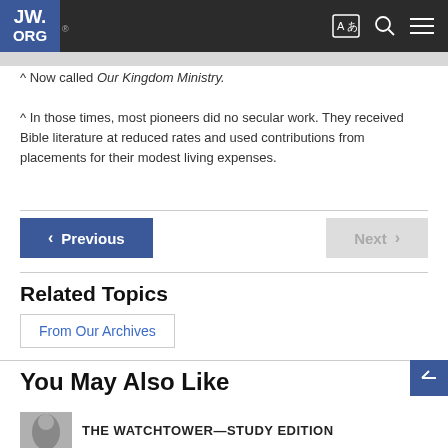JW.ORG
^ Now called Our Kingdom Ministry.
^ In those times, most pioneers did no secular work. They received Bible literature at reduced rates and used contributions from placements for their modest living expenses.
Related Topics
From Our Archives
You May Also Like
THE WATCHTOWER—STUDY EDITION